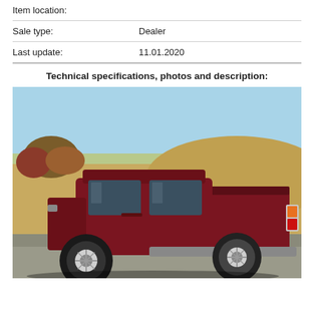Item location:
Sale type:    Dealer
Last update:    11.01.2020
Technical specifications, photos and description:
[Figure (photo): Rear three-quarter view of a dark red/maroon pickup truck (Toyota) parked on a road, with dry grass hillside and trees in the background under a clear blue sky.]